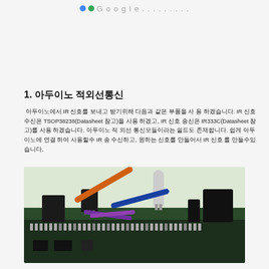Google . . . . . . . . .
1. 아두이노 적외선통신
아두이노에서 IR 신호를 보내고 받기위해 다음과 같은 부품을 사 용 하겠습니다. IR 신호 수신은 TSOP38238(Datasheet 참고)을 사용 하겠고, IR 신호 송신은 IR333C(Datasheet 참고)를 사용 하겠습니다. 아두이노 적 외선 통신모듈이라는 쉴드도 존재합니다. 쉽게 아두이노에 연결 하여 사용할수 IR 송 수신하고, 원하는 신호를 만들어서 IR 신호 를 만들수있습니다.
[Figure (photo): Photo of an Arduino IR communication module circuit board with IR receiver (TSOP38238) and IR LED (IR333C) components, along with orange, blue, and purple wires connected to a PCB with pin strips and black connector blocks.]